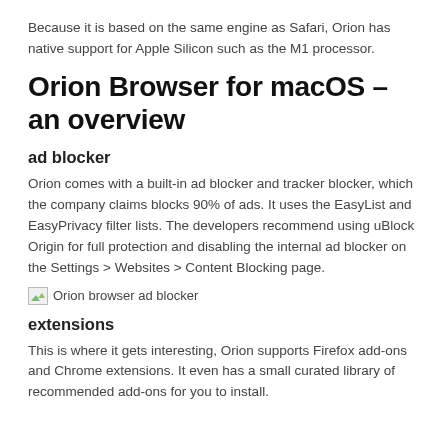Because it is based on the same engine as Safari, Orion has native support for Apple Silicon such as the M1 processor.
Orion Browser for macOS – an overview
ad blocker
Orion comes with a built-in ad blocker and tracker blocker, which the company claims blocks 90% of ads. It uses the EasyList and EasyPrivacy filter lists. The developers recommend using uBlock Origin for full protection and disabling the internal ad blocker on the Settings > Websites > Content Blocking page.
[Figure (illustration): Broken image placeholder with alt text: Orion browser ad blocker]
extensions
This is where it gets interesting, Orion supports Firefox add-ons and Chrome extensions. It even has a small curated library of recommended add-ons for you to install.